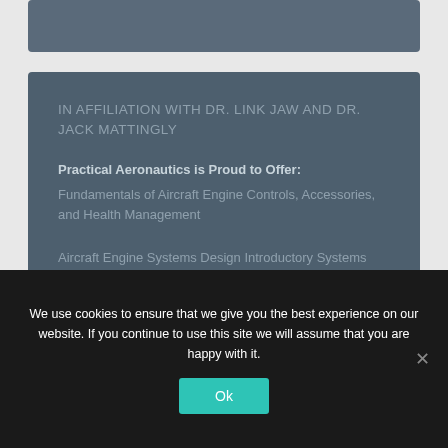[Figure (other): Top dark blue-grey banner strip]
IN AFFILIATION WITH DR. LINK JAW AND DR. JACK MATTINGLY
Practical Aeronautics is Proud to Offer:
Fundamentals of Aircraft Engine Controls, Accessories, and Health Management
Aircraft Engine Systems Design Introductory Systems Analysis
We use cookies to ensure that we give you the best experience on our website. If you continue to use this site we will assume that you are happy with it.
Ok